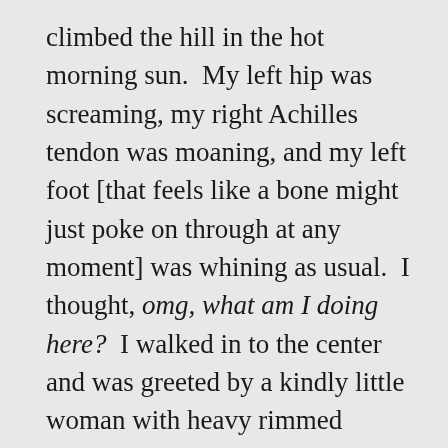climbed the hill in the hot morning sun.  My left hip was screaming, my right Achilles tendon was moaning, and my left foot [that feels like a bone might just poke on through at any moment] was whining as usual.  I thought, omg, what am I doing here?  I walked in to the center and was greeted by a kindly little woman with heavy rimmed glasses and salt and pepper hair pulled back into a perky pony tail.  She was wearing a cute little kimono-like top and some loose capris and she asked if I was the new sign up.  I said yes, and this would be my first real yoga class.  She was incredulous and asked what made me decide to come.  I said, because this was a 50 and over class and I was diagnosed